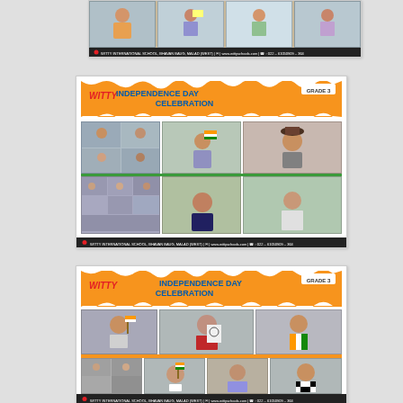[Figure (photo): Witty International School Independence Day Celebration collage - partial card showing student photos with Indian flags and drawings (top, cropped)]
[Figure (photo): Witty International School Independence Day Celebration Grade 3 collage - orange banner with WITTY logo, INDEPENDENCE DAY CELEBRATION title, grid of student photos from virtual celebration]
[Figure (photo): Witty International School Independence Day Celebration Grade 3 collage - orange banner with WITTY logo, INDEPENDENCE DAY CELEBRATION title, grid of student photos showing students with Indian flags, drawings and in traditional attire]